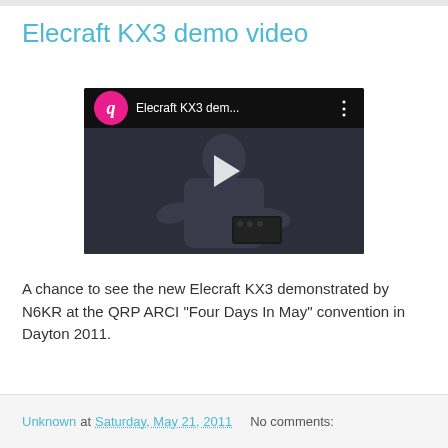Elecraft KX3 demo video
[Figure (screenshot): Embedded YouTube video thumbnail showing a person holding the Elecraft KX3 radio device, with a play button overlay and video header showing 'Elecraft KX3 dem...' title and a pink avatar circle with letter 'q']
A chance to see the new Elecraft KX3 demonstrated by N6KR at the QRP ARCI "Four Days In May" convention in Dayton 2011.
Unknown at Saturday, May 21, 2011   No comments: